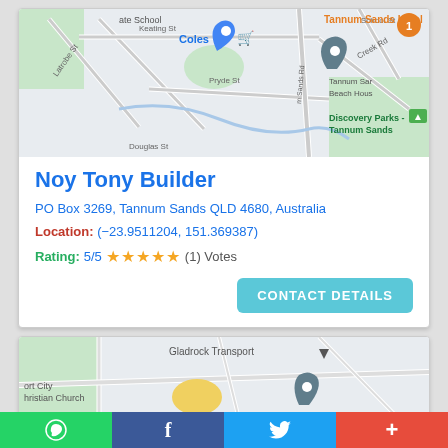[Figure (map): Google Maps view of Tannum Sands area showing streets: Keating St, Latrobe St, Douglas St, Pryde St, Tannum Sands Rd, Creek Rd, School St; landmarks: Coles, Tannum Sands Hotel, Tannum Sands Beach House, Discovery Parks - Tannum Sands]
Noy Tony Builder
PO Box 3269, Tannum Sands QLD 4680, Australia
Location: (−23.9511204, 151.369387)
Rating: 5/5 ★★★★★ (1) Votes
[Figure (map): Google Maps view showing Gladrock Transport and Port City Christian Church area with a location pin marker]
WhatsApp | Facebook | Twitter | More (+)